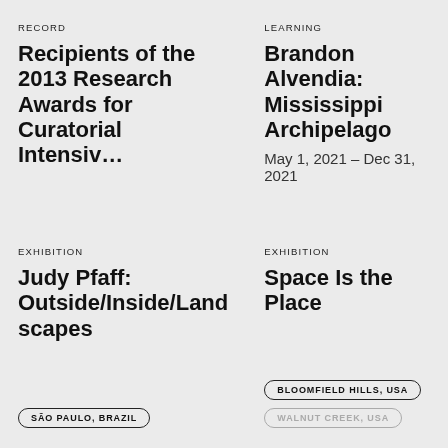RECORD
Recipients of the 2013 Research Awards for Curatorial Intensiv…
LEARNING
Brandon Alvendia: Mississippi Archipelago
May 1, 2021 – Dec 31, 2021
EXHIBITION
Judy Pfaff: Outside/Inside/Landscapes
SÃO PAULO, BRAZIL
EXHIBITION
Space Is the Place
BLOOMFIELD HILLS, USA
WALNUT CREEK, USA